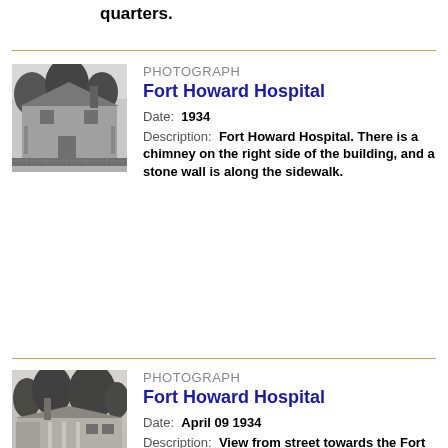quarters.
[Figure (photo): Black and white photograph of Fort Howard Hospital building, a two-story stone/brick structure with trees in front and a stone wall along the sidewalk.]
PHOTOGRAPH
Fort Howard Hospital
Date: 1934
Description: Fort Howard Hospital. There is a chimney on the right side of the building, and a stone wall is along the sidewalk.
[Figure (photo): Black and white photograph of Fort Howard Hospital viewed from street, a low one-story building with trees and a chimney visible.]
PHOTOGRAPH
Fort Howard Hospital
Date: April 09 1934
Description: View from street towards the Fort Howard